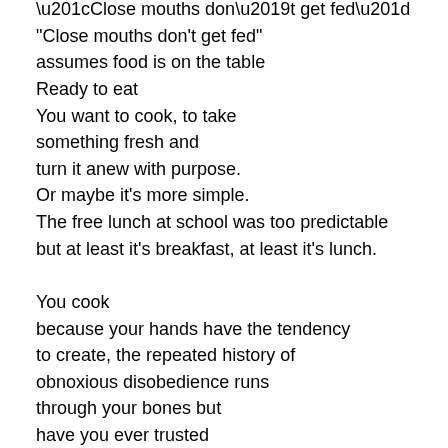“Close mouths don’t get fed”
assumes food is on the table
Ready to eat
You want to cook, to take
something fresh and
turn it anew with purpose.
Or maybe it’s more simple.
The free lunch at school was too predictable
but at least it’s breakfast, at least it’s lunch.

You cook
because your hands have the tendency
to create, the repeated history of
obnoxious disobedience runs
through your bones but
have you ever trusted